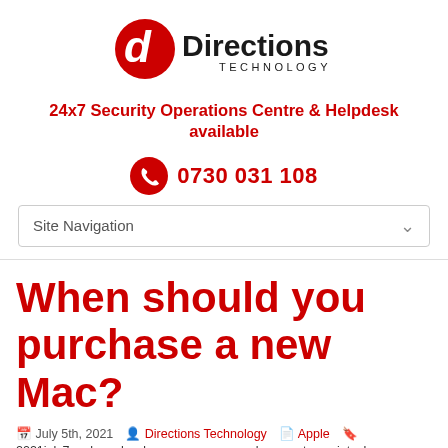[Figure (logo): Directions Technology logo — red circular icon with white 'd' letter, followed by bold 'Directions' text and 'TECHNOLOGY' in smaller caps]
24x7 Security Operations Centre & Helpdesk available
0730 031 108
Site Navigation
When should you purchase a new Mac?
July 5th, 2021  Directions Technology  Apple  2021july7apple_a, hardware, mac, mac replacement, macintosh, macos,